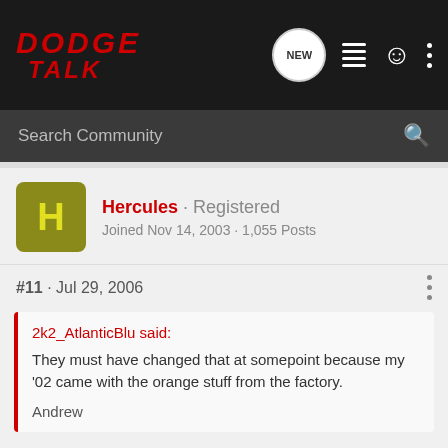[Figure (screenshot): Dodge Talk forum website header with logo and navigation icons including NEW button, list icon, user icon, and more dots icon]
Search Community
Hercules · Registered
Joined Nov 14, 2003 · 1,055 Posts
#11 · Jul 29, 2006
2k2_AtlanticBlu said:
They must have changed that at somepoint because my '02 came with the orange stuff from the factory.

Andrew
Yes, they did because my '01 has the orange and it clearly states in the factory service manual to ONLY use the orange. I had a run in with my dealer over this when I had a flush and they put green back in.